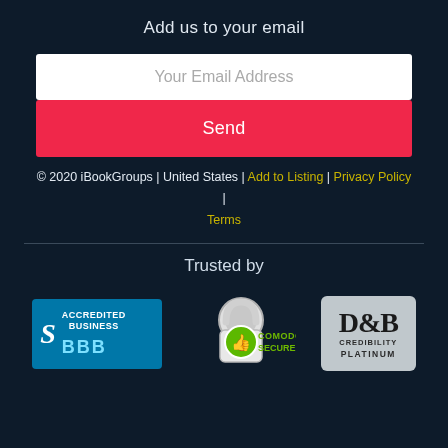Add us to your email
Your Email Address
Send
© 2020 iBookGroups | United States | Add to Listing | Privacy Policy | Terms
Trusted by
[Figure (logo): BBB Accredited Business badge with blue background]
[Figure (logo): Comodo Secure badge with padlock and green thumbs up icon]
[Figure (logo): D&B Credibility Platinum badge with grey background]